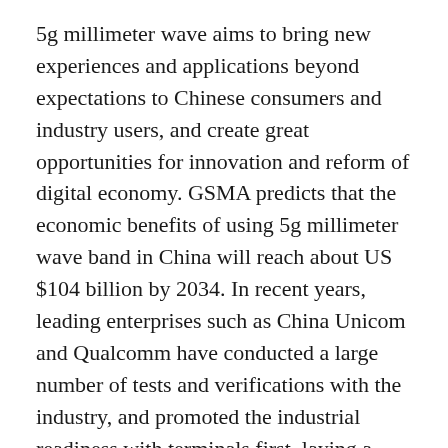5g millimeter wave aims to bring new experiences and applications beyond expectations to Chinese consumers and industry users, and create great opportunities for innovation and reform of digital economy. GSMA predicts that the economic benefits of using 5g millimeter wave band in China will reach about US $104 billion by 2034. In recent years, leading enterprises such as China Unicom and Qualcomm have conducted a large number of tests and verifications with the industry, and promoted the industrial readiness with terminals first, laying a solid foundation for the maturity of 5g millimeter wave technology and ecology. The persistent investment of the whole industrial chain is precisely to accelerate the large-scale commercial deployment of 5g millimeter wave in China, draw an exciting new picture of 5g innovative economy, and enable brand-new technological transformation and industrial upgrading.
5g millimeter wave has strong positioning rights and both the...